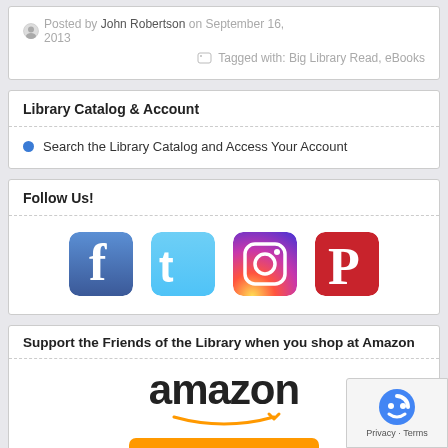Posted by John Robertson on September 16, 2013
Tagged with: Big Library Read, eBooks
Library Catalog & Account
Search the Library Catalog and Access Your Account
Follow Us!
[Figure (logo): Social media icons: Facebook, Twitter, Instagram, Pinterest]
Support the Friends of the Library when you shop at Amazon
[Figure (logo): Amazon Smile logo with orange smile box]